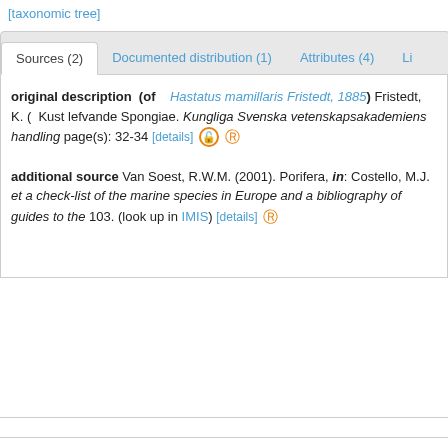[taxonomic tree]
Sources (2) | Documented distribution (1) | Attributes (4) | Li...
original description (of Hastatus mamillaris Fristedt, 1885) Fristedt, K. (...) Kust lefvande Spongiae. Kungliga Svenska vetenskapsakademiens handling... page(s): 32-34 [details] 🔓
additional source Van Soest, R.W.M. (2001). Porifera, in: Costello, M.J. et a... check-list of the marine species in Europe and a bibliography of guides to the... 103. (look up in IMIS) [details] 🔓